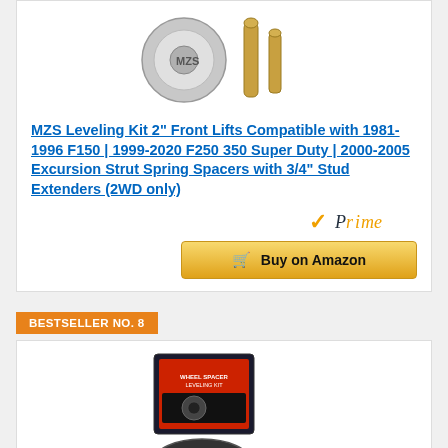[Figure (photo): MZS leveling kit product photo showing silver metal strut spacers and gold stud extenders]
MZS Leveling Kit 2" Front Lifts Compatible with 1981-1996 F150 | 1999-2020 F250 350 Super Duty | 2000-2005 Excursion Strut Spring Spacers with 3/4" Stud Extenders (2WD only)
[Figure (logo): Amazon Prime badge with orange checkmark and italic Prime text]
[Figure (other): Buy on Amazon button with shopping cart icon]
BESTSELLER NO. 8
[Figure (photo): Wheel spacer leveling kit product showing black metal spacers and product box packaging]